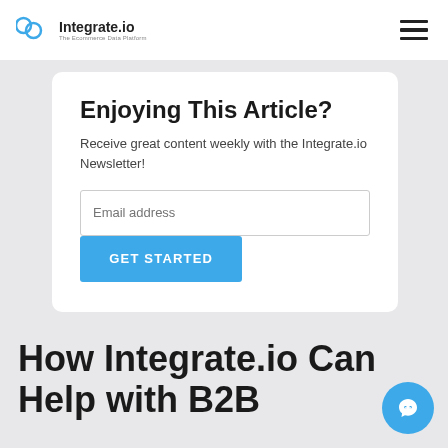Integrate.io – The Ecommerce Data Platform
Enjoying This Article?
Receive great content weekly with the Integrate.io Newsletter!
Email address
GET STARTED
How Integrate.io Can Help with B2B